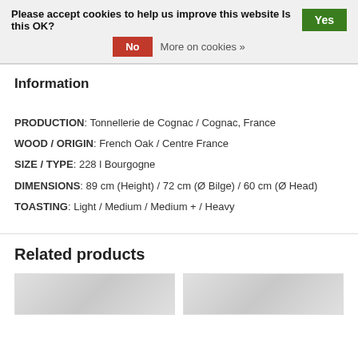Please accept cookies to help us improve this website Is this OK? Yes No More on cookies »
Information
PRODUCTION: Tonnellerie de Cognac / Cognac, France
WOOD / ORIGIN: French Oak / Centre France
SIZE / TYPE: 228 l Bourgogne
DIMENSIONS: 89 cm (Height) / 72 cm (Ø Bilge) / 60 cm (Ø Head)
TOASTING: Light / Medium / Medium + / Heavy
Related products
[Figure (photo): Related product image 1]
[Figure (photo): Related product image 2]